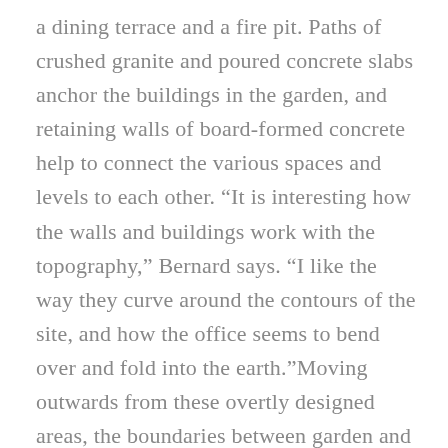a dining terrace and a fire pit. Paths of crushed granite and poured concrete slabs anchor the buildings in the garden, and retaining walls of board-formed concrete help to connect the various spaces and levels to each other. “It is interesting how the walls and buildings work with the topography,” Bernard says. “I like the way they curve around the contours of the site, and how the office seems to bend over and fold into the earth.”Moving outwards from these overtly designed areas, the boundaries between garden and natural landscape beyond start to blur, with trees giving way to woodland trails, and terraced beds of well-mannered planting flowing gradually down into wilder vegetation. “I love the way the built landscape phases out into the existing indigenous planting, seamlessly blending the edges of the two,” he says. The success of